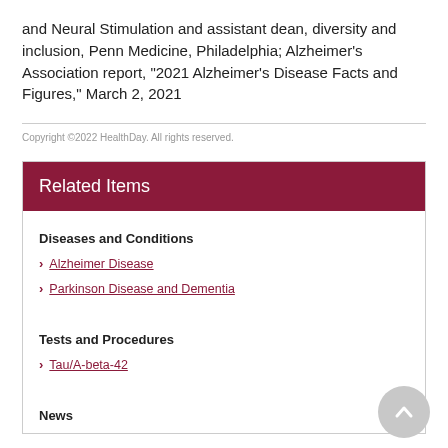and Neural Stimulation and assistant dean, diversity and inclusion, Penn Medicine, Philadelphia; Alzheimer's Association report, "2021 Alzheimer's Disease Facts and Figures," March 2, 2021
Copyright ©2022 HealthDay. All rights reserved.
Related Items
Diseases and Conditions
Alzheimer Disease
Parkinson Disease and Dementia
Tests and Procedures
Tau/A-beta-42
News